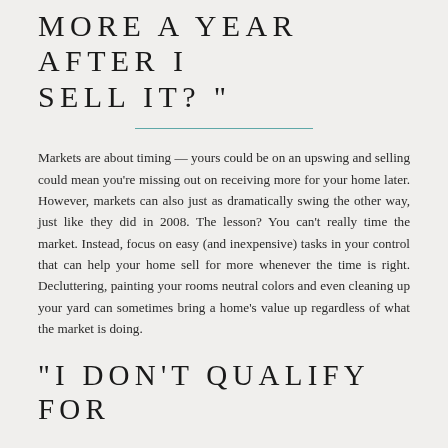MORE A YEAR AFTER I SELL IT?"
Markets are about timing — yours could be on an upswing and selling could mean you're missing out on receiving more for your home later. However, markets can also just as dramatically swing the other way, just like they did in 2008. The lesson? You can't really time the market. Instead, focus on easy (and inexpensive) tasks in your control that can help your home sell for more whenever the time is right. Decluttering, painting your rooms neutral colors and even cleaning up your yard can sometimes bring a home's value up regardless of what the market is doing.
"I DON'T QUALIFY FOR